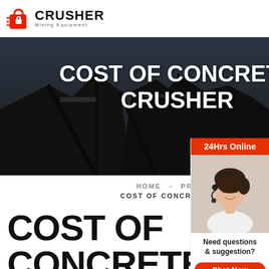[Figure (logo): Crusher Mining Equipment logo with red shopping bag icon and bold CRUSHER text]
[Figure (photo): Dark industrial background with mining crusher equipment silhouettes]
COST OF CONCRETE CRUSHER
HOME → PRODUCT →
COST OF CONCRETE CRUSHER
[Figure (photo): Woman with headset smiling, customer support representative, with 24Hrs Online label, Need questions & suggestion? Chat Now button, Enquiry, limingjlmofen@sina.com]
COST OF CONCRETE